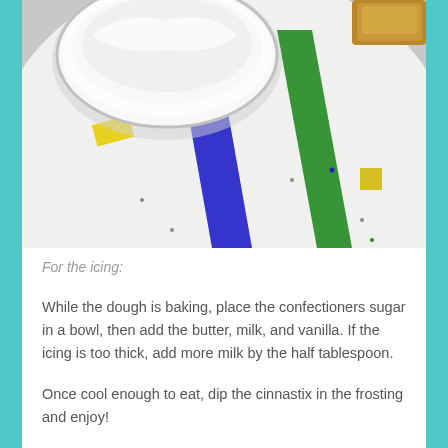[Figure (photo): Overhead photo of a colorful speckled plate with blue and green stripe decorations and yellow squares, with a glass bowl containing white cream/yogurt visible at the top left, and a piece of baked good visible at top right corner.]
For the icing:
While the dough is baking, place the confectioners sugar in a bowl, then add the butter, milk, and vanilla. If the icing is too thick, add more milk by the half tablespoon.
Once cool enough to eat, dip the cinnastix in the frosting and enjoy!